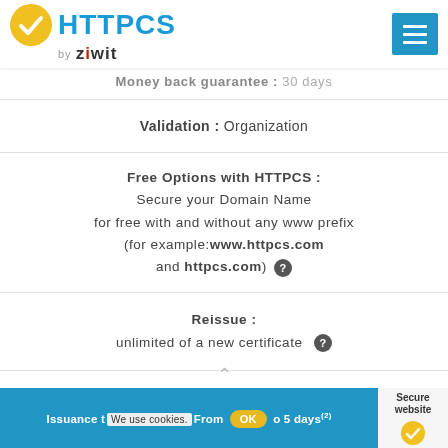[Figure (logo): HTTPCS by Ziwit logo with yellow checkmark badge and blue hamburger menu button]
Money back guarantee: 30 days
Validation : Organization
Free Options with HTTPCS : Secure your Domain Name for free with and without any www prefix (for example:www.httpcs.com and httpcs.com)
Reissue : unlimited of a new certificate
Number of servers : Unlimited
Issuance time: From ... to 5 days(2) | We use cookies. OK | Secure website